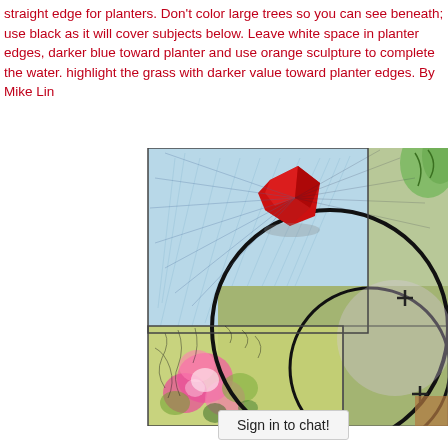straight edge for planters. Don't color large trees so you can see beneath; use black as it will cover subjects below. Leave white space in planter edges, darker blue toward planter and use orange sculpture to complete the water. highlight the grass with darker value toward planter edges. By Mike Lin
[Figure (illustration): Aerial/plan view landscape architecture sketch with watercolor rendering showing a planter with flowers, circular forms representing trees or sculptures with black outlines, blue sky/water area, green grass areas, a red crumpled paper or sculpture element, and cross/plus markers. Artistic mixed-media rendering with pen lines and watercolor washes.]
Sign in to chat!